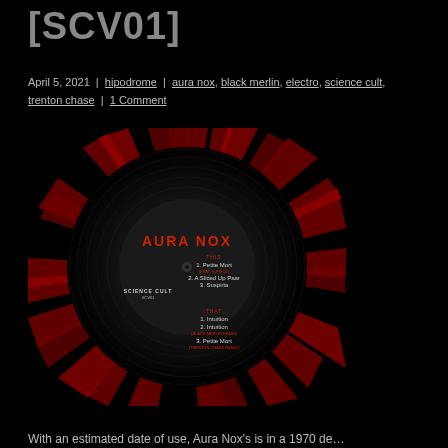[SCV01]
April 5, 2021 | hipodrome | aura nox, black merlin, electro, science cult, trenton chase | 1 Comment
[Figure (photo): Vinyl record label for Aura Nox on Science Cult (SCV01) with red and black swirled background. Label lists tracks: THIS side — 1. Petite Mort (feat. s-Price), 2. A Sliced Up Paar, 3. Suspiria; THAT side — 1. Intuition, 2. Intuition (Black Merlin Remix), 3. Petite Mort (Trenton Chase Remix).]
With an estimated date of use, Aura Nox's is in a 1970 de...